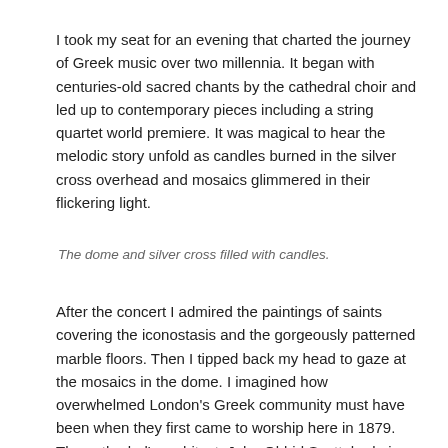I took my seat for an evening that charted the journey of Greek music over two millennia. It began with centuries-old sacred chants by the cathedral choir and led up to contemporary pieces including a string quartet world premiere. It was magical to hear the melodic story unfold as candles burned in the silver cross overhead and mosaics glimmered in their flickering light.
The dome and silver cross filled with candles.
After the concert I admired the paintings of saints covering the iconostasis and the gorgeously patterned marble floors. Then I tipped back my head to gaze at the mosaics in the dome. I imagined how overwhelmed London's Greek community must have been when they first came to worship here in 1879. The cathedral's architect, John Oldrid Scott, had given them a masterpiece that was the inspiration for